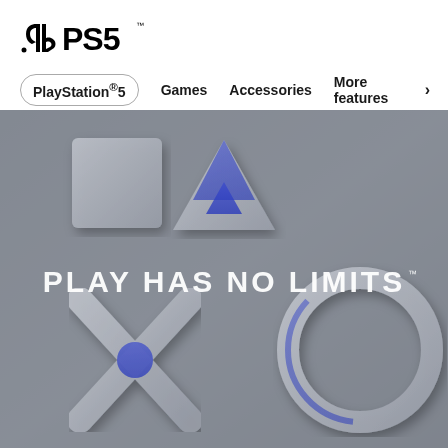[Figure (logo): PlayStation PS5 logo — PlayStation symbol (controller icon) and PS5 text in bold black]
PlayStation®5
Games
Accessories
More features >
[Figure (photo): PlayStation 5 hero banner showing large 3D rendered controller button symbols (triangle, square, cross/X, circle) in light grey with blue accents on a grey background, with the text PLAY HAS NO LIMITS overlaid in white capital letters]